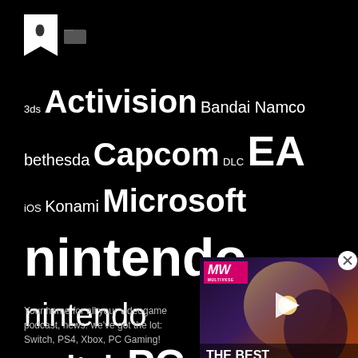[Figure (illustration): Bookmark and folder icons on black background]
3ds Activision Bandai Namco bethesda Capcom DLC EA iOS Konami Microsoft nintendo nintendo switch PC playstation 3 PlayStation 4 PS3 PS4 Sega Sony square enix Steam Trailer Ubisoft Xbox 360 Xbox One
[Figure (screenshot): Video advertisement overlay: MW logo, play button, fantasy game art with text THE BEST CARD-BASED GAMES]
Your home for all your videogame podcast, news: we've got the lot: Switch, PS4, Xbox, PC Gaming!